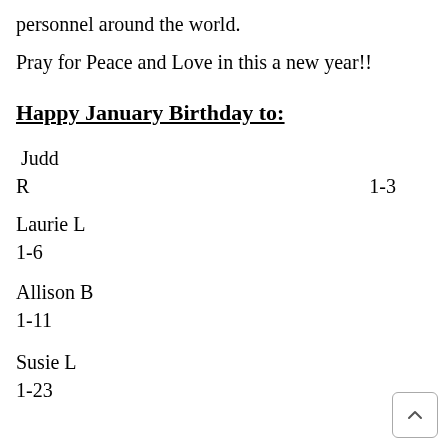personnel around the world.
Pray for Peace and Love in this a new year!!
Happy January Birthday to:
Judd
R    1-3
Laurie L
1-6
Allison B
1-11
Susie L
1-23